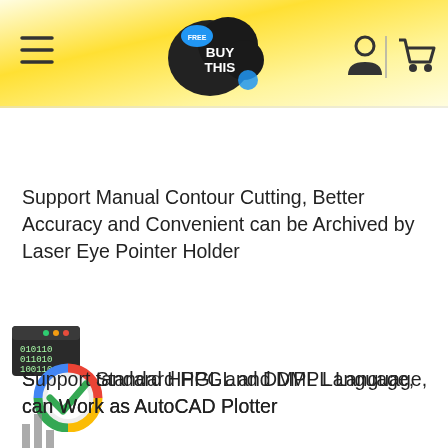[Figure (logo): BuyThis website header with yellow gradient background, hamburger menu icon on the left, BuyThis logo in the center (black cloud shape with FREE tag and blue bubble), person icon and shopping cart icon on the right]
Support Manual Contour Cutting, Better Accuracy and Convenient can be Archived by Laser Eye Pointer Holder
[Figure (illustration): Small binary code window icon (dark rectangle with binary digits 010110, 011010, 100110) overlapping a colorful Google-style circular checkmark icon in red, yellow, green, blue with a green tick]
Support Standard HPGL and DMPL Language, can Work as AutoCAD Plotter
[Figure (illustration): Partial bar chart icon at the bottom left, partially visible]